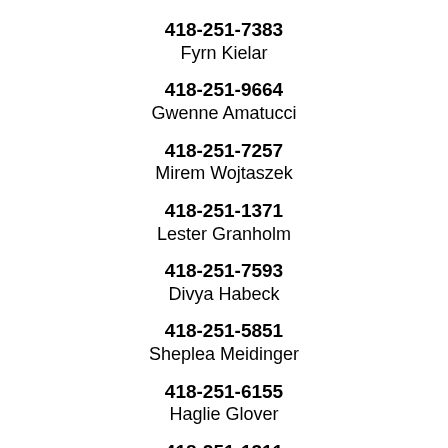418-251-7383
Fyrn Kielar
418-251-9664
Gwenne Amatucci
418-251-7257
Mirem Wojtaszek
418-251-1371
Lester Granholm
418-251-7593
Divya Habeck
418-251-5851
Sheplea Meidinger
418-251-6155
Haglie Glover
418-251-1311
Dagnanna Seagraves
418-251-6771